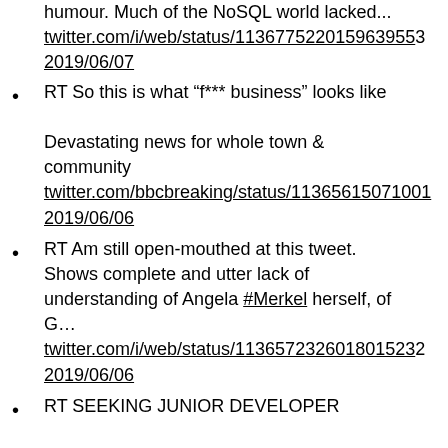humour. Much of the NoSQL world lacked... twitter.com/i/web/status/1136775220159639553 2019/06/07
RT So this is what “f*** business” looks like

Devastating news for whole town & community twitter.com/bbcbreaking/status/11365615071001 2019/06/06
RT Am still open-mouthed at this tweet. Shows complete and utter lack of understanding of Angela #Merkel herself, of G… twitter.com/i/web/status/1136572326018015232 2019/06/06
RT SEEKING JUNIOR DEVELOPER